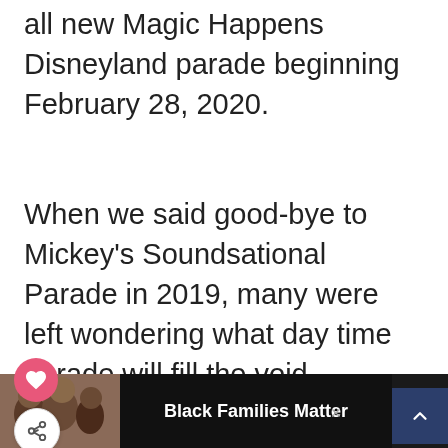all new Magic Happens Disneyland parade beginning February 28, 2020.
When we said good-bye to Mickey's Soundsational Parade in 2019, many were left wondering what day time parade will fill the void. Introducing Magic Happens, showcasing Disney favorites at Disneyland Park.
[Figure (other): Pink circular heart (favorite) button and white circular share button floating on left side of page]
[Figure (other): Dark navy scroll-to-top chevron button on right side]
WHAT'S NEXT → Disneyland Parade...
[Figure (photo): Circular thumbnail image of a Disneyland parade float]
[Figure (photo): Advertisement banner at bottom: photo of smiling family on left, 'Black Families Matter' bold text in center, logo on right, close X button]
Black Families Matter